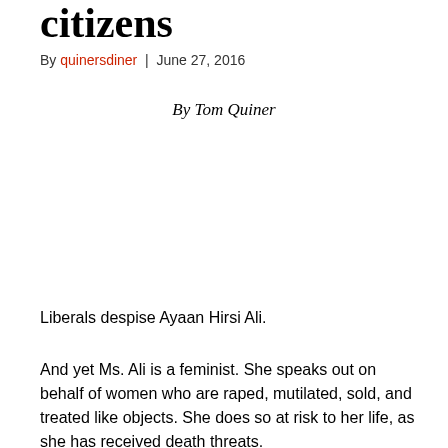citizens
By quinersdiner  |  June 27, 2016
By Tom Quiner
Liberals despise Ayaan Hirsi Ali.
And yet Ms. Ali is a feminist. She speaks out on behalf of women who are raped, mutilated, sold, and treated like objects. She does so at risk to her life, as she has received death threats.